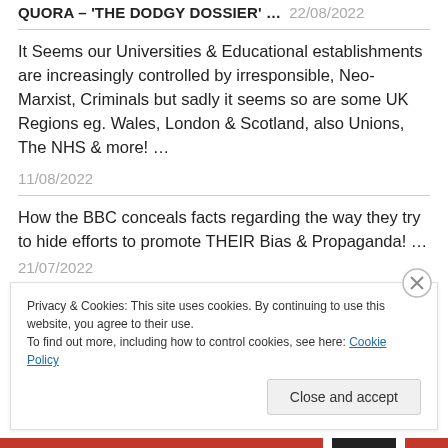QUORA – 'THE DODGY DOSSIER' … 22/08/2022
It Seems our Universities & Educational establishments are increasingly controlled by irresponsible, Neo-Marxist, Criminals but sadly it seems so are some UK Regions eg. Wales, London & Scotland, also Unions, The NHS & more! …
11/08/2022
How the BBC conceals facts regarding the way they try to hide efforts to promote THEIR Bias & Propaganda! …
21/07/2022
The misleading Myths & Fraud surrounding Climate
Privacy & Cookies: This site uses cookies. By continuing to use this website, you agree to their use.
To find out more, including how to control cookies, see here: Cookie Policy